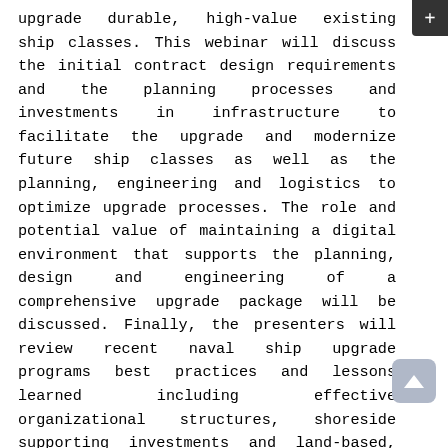upgrade durable, high-value existing ship classes. This webinar will discuss the initial contract design requirements and the planning processes and investments in infrastructure to facilitate the upgrade and modernize future ship classes as well as the planning, engineering and logistics to optimize upgrade processes. The role and potential value of maintaining a digital environment that supports the planning, design and engineering of a comprehensive upgrade package will be discussed. Finally, the presenters will review recent naval ship upgrade programs best practices and lessons learned including effective organizational structures, shoreside supporting investments and land-based, system-level testing facilities.
To institutionalize and optimize the upgrade and modernization of future USN ship classes, this initiative seeks to demonstrate its value and to